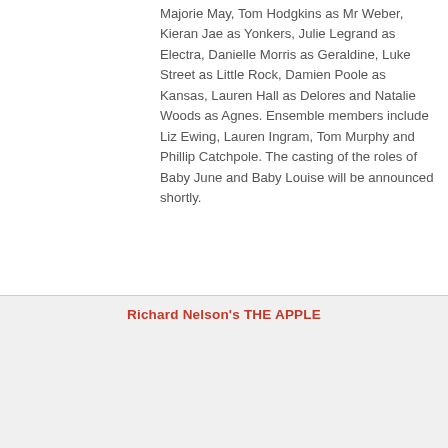Majorie May, Tom Hodgkins as Mr Weber, Kieran Jae as Yonkers, Julie Legrand as Electra, Danielle Morris as Geraldine, Luke Street as Little Rock, Damien Poole as Kansas, Lauren Hall as Delores and Natalie Woods as Agnes. Ensemble members include Liz Ewing, Lauren Ingram, Tom Murphy and Phillip Catchpole. The casting of the roles of Baby June and Baby Louise will be announced shortly.
Richard Nelson's THE APPLE
[Figure (other): Advertisement banner for 'The Book of Mormon' musical offering 2-for-1 tickets during NYC Broadway Week September 6-25, using code BWAYWK. Gold and black design with orange 'GET TICKETS' button.]